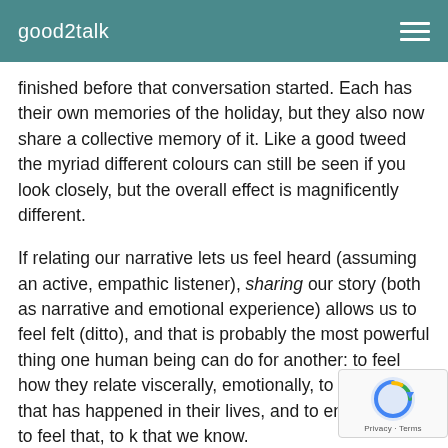good2talk
finished before that conversation started. Each has their own memories of the holiday, but they also now share a collective memory of it. Like a good tweed the myriad different colours can still be seen if you look closely, but the overall effect is magnificently different.
If relating our narrative lets us feel heard (assuming an active, empathic listener), sharing our story (both as narrative and emotional experience) allows us to feel felt (ditto), and that is probably the most powerful thing one human being can do for another: to feel how they relate viscerally, emotionally, to something that has happened in their lives, and to enable them to feel that, to know that we know.